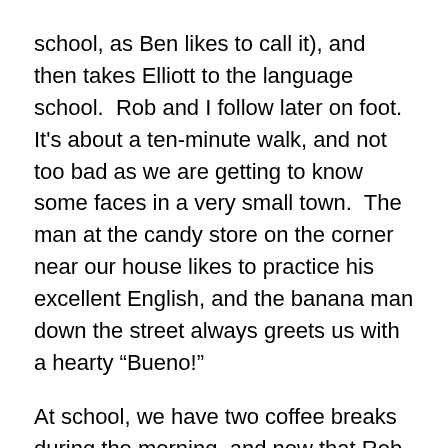school, as Ben likes to call it), and then takes Elliott to the language school.  Rob and I follow later on foot.  It's about a ten-minute walk, and not too bad as we are getting to know some faces in a very small town.  The man at the candy store on the corner near our house likes to practice his excellent English, and the banana man down the street always greets us with a hearty “Bueno!”
At school, we have two coffee breaks during the morning, and now that Rob and I are in different classes (we started out in the same class), we are getting private instruction. My teacher today seemed a little surprised and put out that I felt like I could work all the way through the 2nd coffee break. In fact, many of the other instructors kept knocking on our door, “You’re not going to take a break?” I wanted to say, “I think I can handle another half an hour